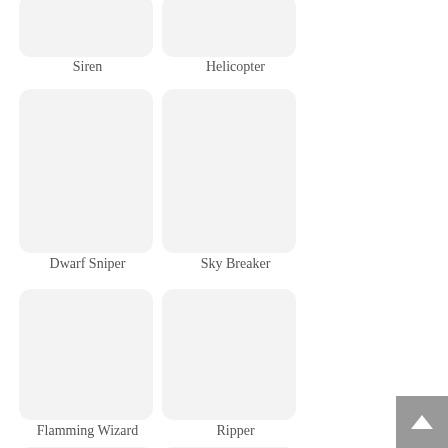[Figure (illustration): Card placeholder image for Siren (partially visible at top)]
Siren
[Figure (illustration): Card placeholder image for Helicopter (partially visible at top)]
Helicopter
[Figure (illustration): Card placeholder image for Dwarf Sniper]
Dwarf Sniper
[Figure (illustration): Card placeholder image for Sky Breaker]
Sky Breaker
[Figure (illustration): Card placeholder image for Flamming Wizard]
Flamming Wizard
[Figure (illustration): Card placeholder image for Ripper]
Ripper